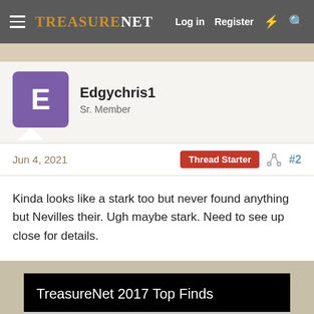TreasureNet  Log in  Register
Edgychris1
Sr. Member
Jun 4, 2021  Thread Starter  #2
Kinda looks like a stark too but never found anything but Nevilles their. Ugh maybe stark. Need to see up close for details.
TreasureNet 2017 Top Finds